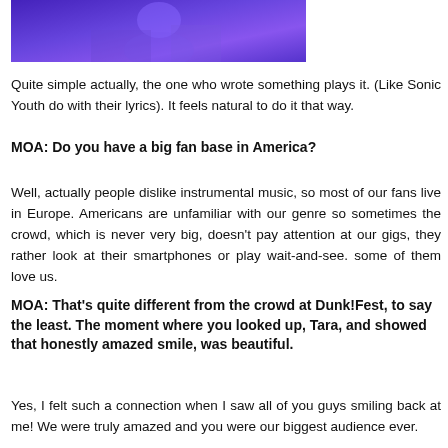[Figure (photo): Partial photo with purple/blue hue, appears to be a person on stage or in a concert setting]
Quite simple actually, the one who wrote something plays it. (Like Sonic Youth do with their lyrics). It feels natural to do it that way.
MOA: Do you have a big fan base in America?
Well, actually people dislike instrumental music, so most of our fans live in Europe. Americans are unfamiliar with our genre so sometimes the crowd, which is never very big, doesn't pay attention at our gigs, they rather look at their smartphones or play wait-and-see. some of them love us.
MOA: That's quite different from the crowd at Dunk!Fest, to say the least. The moment where you looked up, Tara, and showed that honestly amazed smile, was beautiful.
Yes, I felt such a connection when I saw all of you guys smiling back at me! We were truly amazed and you were our biggest audience ever.